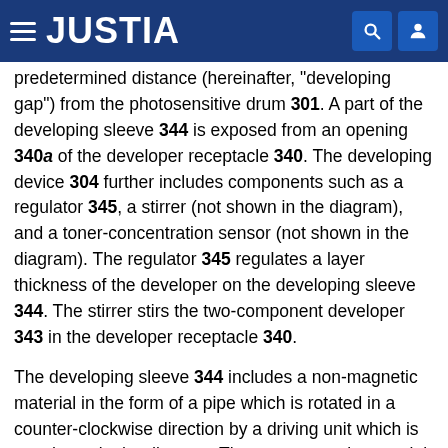JUSTIA
predetermined distance (hereinafter, "developing gap") from the photosensitive drum 301. A part of the developing sleeve 344 is exposed from an opening 340a of the developer receptacle 340. The developing device 304 further includes components such as a regulator 345, a stirrer (not shown in the diagram), and a toner-concentration sensor (not shown in the diagram). The regulator 345 regulates a layer thickness of the developer on the developing sleeve 344. The stirrer stirs the two-component developer 343 in the developer receptacle 340.
The developing sleeve 344 includes a non-magnetic material in the form of a pipe which is rotated in a counter-clockwise direction by a driving unit which is not shown in the diagram. The non-magnetic material in the form of a pipe includes a magnet roller fixed such that the magnet roller is rotated with the same rotati...